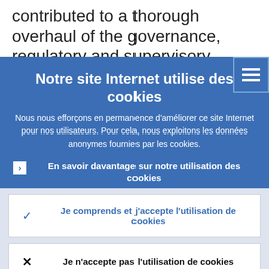contributed to a thorough overhaul of the governance, regulatory and supervisory
Notre site Internet utilise des cookies
Nous nous efforçons en permanence d’améliorer ce site Internet pour nos utilisateurs. Pour cela, nous exploitons les données anonymes fournies par les cookies.
En savoir davantage sur notre utilisation des cookies
Je comprends et j’accepte l’utilisation de cookies
Je n’accepte pas l’utilisation de cookies